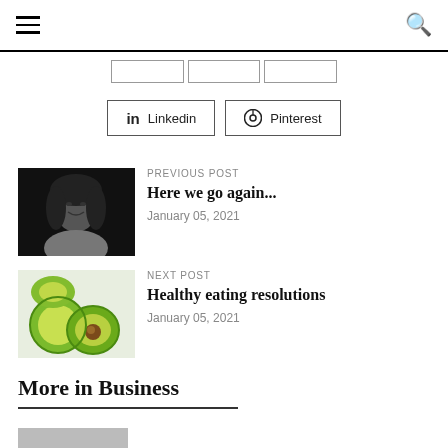Navigation bar with hamburger menu and search icon
[Figure (screenshot): Three tab/button outlines in a row]
[Figure (screenshot): LinkedIn and Pinterest social share buttons]
[Figure (photo): Black and white photo of a smiling woman with long hair]
PREVIOUS POST
Here we go again...
January 05, 2021
[Figure (photo): Photo of sliced avocados on white background]
NEXT POST
Healthy eating resolutions
January 05, 2021
More in Business